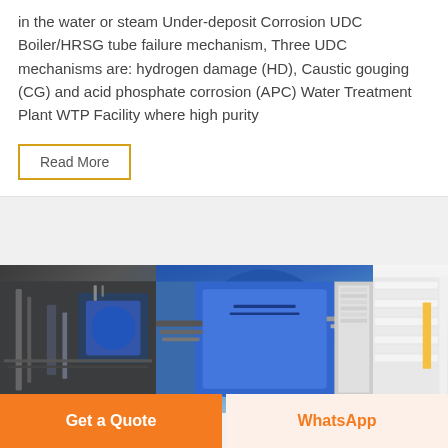in the water or steam Under-deposit Corrosion UDC Boiler/HRSG tube failure mechanism, Three UDC mechanisms are: hydrogen damage (HD), Caustic gouging (CG) and acid phosphate corrosion (APC) Water Treatment Plant WTP Facility where high purity
Read More
[Figure (photo): Industrial boiler/HRSG equipment photo showing blue cylindrical boiler unit with pipes and white insulation wrapping, taken in an industrial facility.]
Get a Quote
WhatsApp